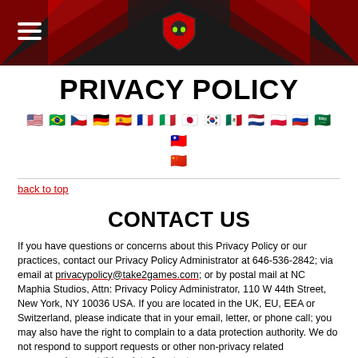Navigation header with hamburger menu and skull shield logo
PRIVACY POLICY
[Figure (illustration): Row of country flag emoji icons representing language versions of the privacy policy]
back to top
CONTACT US
If you have questions or concerns about this Privacy Policy or our practices, contact our Privacy Policy Administrator at 646-536-2842; via email at privacypolicy@take2games.com; or by postal mail at NC Maphia Studios, Attn: Privacy Policy Administrator, 110 W 44th Street, New York, NY 10036 USA. If you are located in the UK, EU, EEA or Switzerland, please indicate that in your email, letter, or phone call; you may also have the right to complain to a data protection authority. We do not respond to support requests or other non-privacy related correspondence at this point of contact.